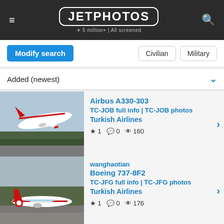JETPHOTOS — 5 million+ | All screened
Modify search | Civilian | Military
Added (newest)
[Figure (photo): Turkish Airlines Airbus A330-303 taking off]
Airbus A330-303
TC-JOB full info | TC-JOB photos
Turkish Airlines
★ 1  💬 0  👁 160
[Figure (photo): Turkish Airlines Boeing 737-8F2 taxiing on runway]
wanghaotian
Boeing 737-8F2
TC-JFG full info | TC-JFG photos
Turkish Airlines
★ 1  💬 0  👁 176